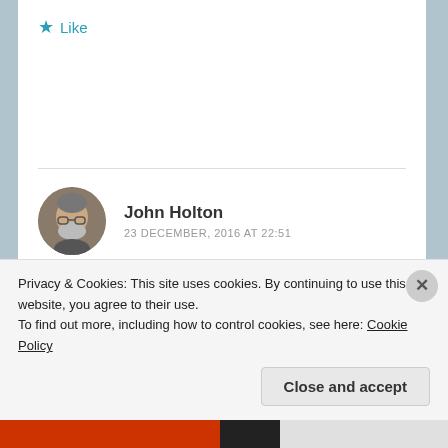★ Like
John Holton
23 DECEMBER, 2016 AT 22:51
There's a fine Shakespearean actor named Daniel Davis,
Privacy & Cookies: This site uses cookies. By continuing to use this website, you agree to their use.
To find out more, including how to control cookies, see here: Cookie Policy
Close and accept